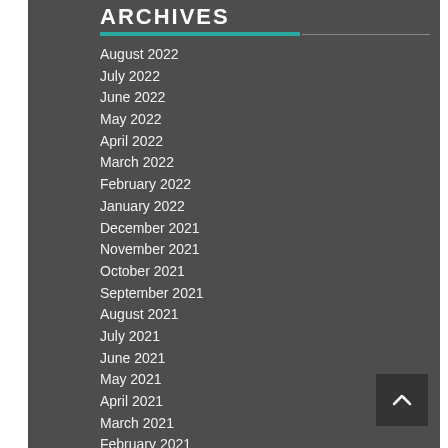ARCHIVES
August 2022
July 2022
June 2022
May 2022
April 2022
March 2022
February 2022
January 2022
December 2021
November 2021
October 2021
September 2021
August 2021
July 2021
June 2021
May 2021
April 2021
March 2021
February 2021